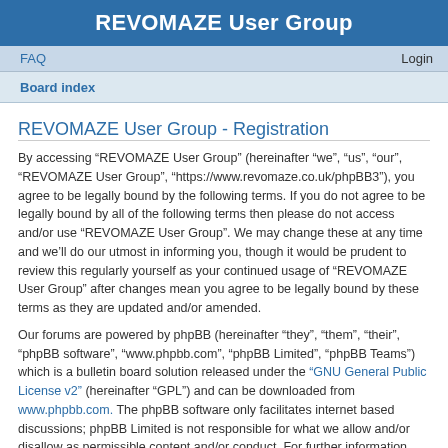REVOMAZE User Group
FAQ    Login
Board index
REVOMAZE User Group - Registration
By accessing “REVOMAZE User Group” (hereinafter “we”, “us”, “our”, “REVOMAZE User Group”, “https://www.revomaze.co.uk/phpBB3”), you agree to be legally bound by the following terms. If you do not agree to be legally bound by all of the following terms then please do not access and/or use “REVOMAZE User Group”. We may change these at any time and we’ll do our utmost in informing you, though it would be prudent to review this regularly yourself as your continued usage of “REVOMAZE User Group” after changes mean you agree to be legally bound by these terms as they are updated and/or amended.
Our forums are powered by phpBB (hereinafter “they”, “them”, “their”, “phpBB software”, “www.phpbb.com”, “phpBB Limited”, “phpBB Teams”) which is a bulletin board solution released under the “GNU General Public License v2” (hereinafter “GPL”) and can be downloaded from www.phpbb.com. The phpBB software only facilitates internet based discussions; phpBB Limited is not responsible for what we allow and/or disallow as permissible content and/or conduct. For further information about phpBB, please see: